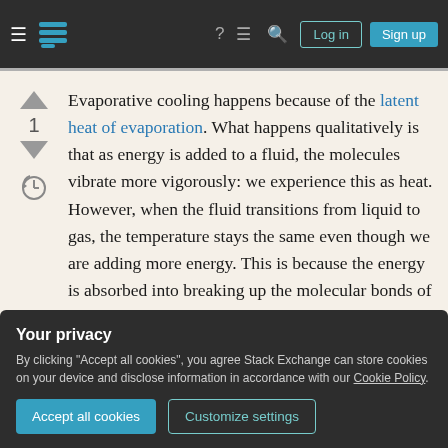Stack Exchange navigation bar with Log in and Sign up buttons
Evaporative cooling happens because of the latent heat of evaporation. What happens qualitatively is that as energy is added to a fluid, the molecules vibrate more vigorously: we experience this as heat. However, when the fluid transitions from liquid to gas, the temperature stays the same even though we are adding more energy. This is because the energy is absorbed into breaking up the molecular bonds of the fluid.
In general, there are a range of different energy levels
Your privacy
By clicking "Accept all cookies", you agree Stack Exchange can store cookies on your device and disclose information in accordance with our Cookie Policy.
molecules that happen to have higher energies. That